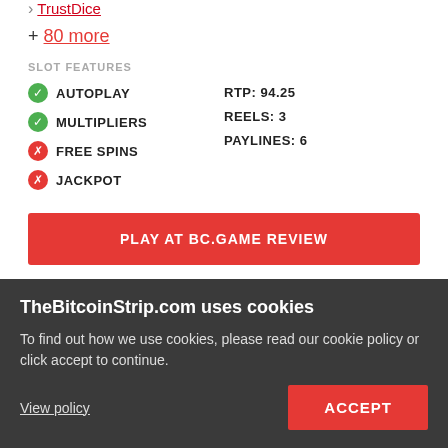> TrustDice
+ 80 more
SLOT FEATURES
✓ AUTOPLAY
✓ MULTIPLIERS
✗ FREE SPINS
✗ JACKPOT
RTP: 94.25
REELS: 3
PAYLINES: 6
PLAY AT BC.GAME REVIEW
READ REVIEW
TheBitcoinStrip.com uses cookies
To find out how we use cookies, please read our cookie policy or click accept to continue.
View policy
ACCEPT